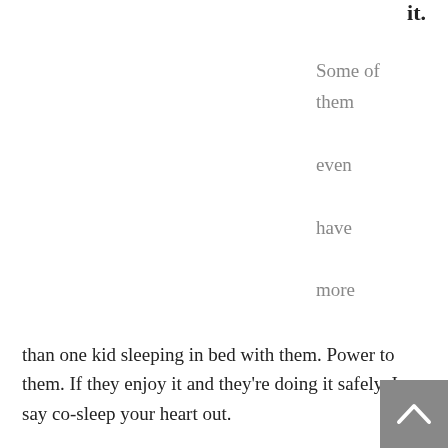it.
Some of them even have more than one kid sleeping in bed with them. Power to them. If they enjoy it and they're doing it safely, I say co-sleep your heart out.
I've spoken to more than a few parents who are big on co-sleeping. They are, however, being woken up by feet in their face or thumbs in their eyes, or have a child constantly attached to their breast, or at least several times a night.
They want to know if sleep training will get their little